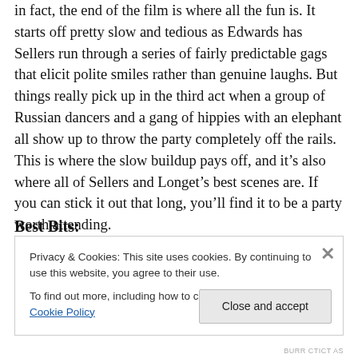in fact, the end of the film is where all the fun is. It starts off pretty slow and tedious as Edwards has Sellers run through a series of fairly predictable gags that elicit polite smiles rather than genuine laughs. But things really pick up in the third act when a group of Russian dancers and a gang of hippies with an elephant all show up to throw the party completely off the rails. This is where the slow buildup pays off, and it’s also where all of Sellers and Longet’s best scenes are. If you can stick it out that long, you’ll find it to be a party worth attending.
Best Bits:
Privacy & Cookies: This site uses cookies. By continuing to use this website, you agree to their use.
To find out more, including how to control cookies, see here: Cookie Policy